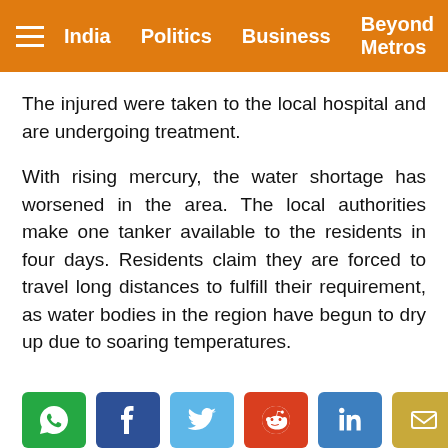India  Politics  Business  Beyond Metros
The injured were taken to the local hospital and are undergoing treatment.
With rising mercury, the water shortage has worsened in the area. The local authorities make one tanker available to the residents in four days. Residents claim they are forced to travel long distances to fulfill their requirement, as water bodies in the region have begun to dry up due to soaring temperatures.
[Figure (infographic): Social sharing buttons: WhatsApp (green), Facebook (blue), Twitter (light blue), Reddit (red), LinkedIn (blue), Email (yellow)]
← Google wants exemption from Huawei